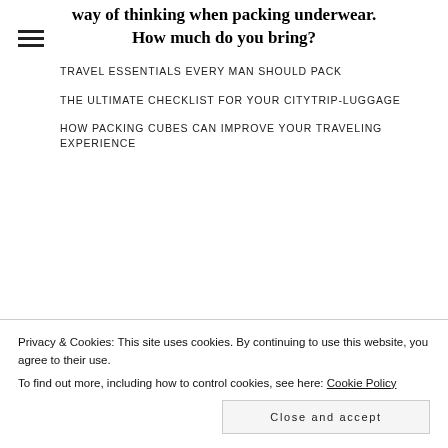way of thinking when packing underwear. How much do you bring?
TRAVEL ESSENTIALS EVERY MAN SHOULD PACK
THE ULTIMATE CHECKLIST FOR YOUR CITYTRIP-LUGGAGE
HOW PACKING CUBES CAN IMPROVE YOUR TRAVELING EXPERIENCE
HOW TRAVEL BLOGGERS MAKE
Privacy & Cookies: This site uses cookies. By continuing to use this website, you agree to their use. To find out more, including how to control cookies, see here: Cookie Policy
Close and accept